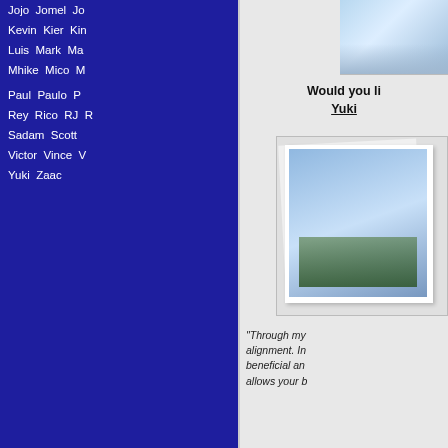Jojo Jomel Jo...
Kevin Kier Kin...
Luis Mark Ma...
Mhike Mico M...
Paul Paulo P...
Rey Rico RJ R...
Sadam Scott
Victor Vince V...
Yuki Zaac
THROWBACKS (OLD PROFILES)
Aldrin/OP  Al...
Edwin/OP
Joel/OP  La...
Terrence/OP  T...
TERMINATED THERAPISTS
[Figure (photo): Top right photo - appears to be a sky/fabric image]
Would you li... Yuki...
[Figure (photo): Stacked photos image showing outdoor landscape]
"Through my... alignment. In... beneficial an... allows your b..."